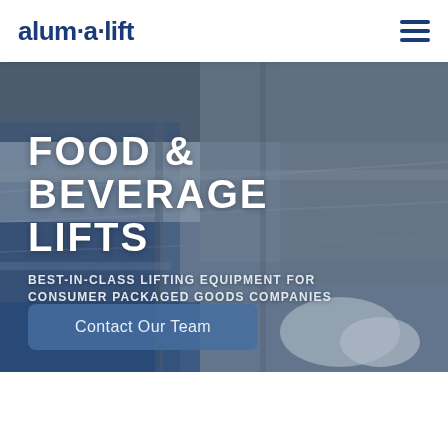alum·a·lift
[Figure (photo): Industrial food and beverage conveyor line with aluminum/stainless steel equipment and blue conveyor belts carrying packaged goods]
FOOD & BEVERAGE LIFTS
BEST-IN-CLASS LIFTING EQUIPMENT FOR CONSUMER PACKAGED GOODS COMPANIES
Contact Our Team